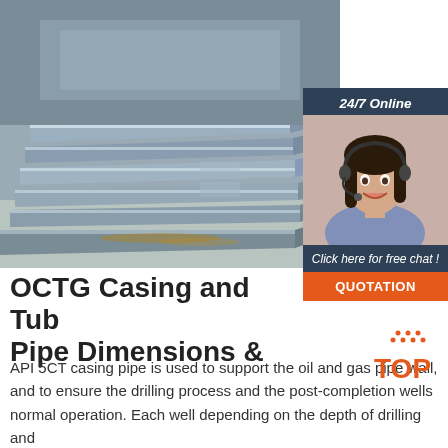[Figure (photo): Stack of steel flat bar plates/sheets photographed close-up, metallic grey with industrial setting]
[Figure (infographic): 24/7 Online chat widget sidebar with a female customer service representative wearing a headset, 'Click here for free chat!' text and QUOTATION button]
OCTG Casing and Tubing Pipe Dimensions &
API 5CT casing pipe is used to support the oil and gas pipe wall, and to ensure the drilling process and the post-completion wells normal operation. Each well depending on the depth of drilling and